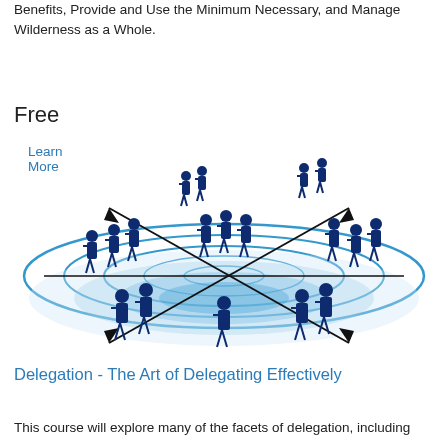Benefits, Provide and Use the Minimum Necessary, and Manage Wilderness as a Whole.
Learn More
Free
[Figure (illustration): Business people silhouettes arranged around concentric blue circles with crossing arrows, representing delegation and team management]
Delegation - The Art of Delegating Effectively
This course will explore many of the facets of delegation, including